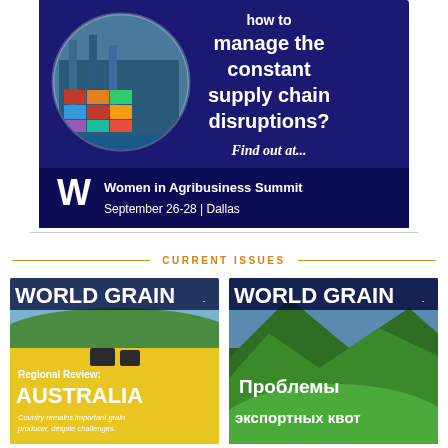[Figure (infographic): Advertisement banner for Women in Agribusiness Summit. Dark navy background with a circular photo of a shipping port with containers and cranes. Text reads 'how to manage the constant supply chain disruptions? Find out at... Women in Agribusiness Summit September 26-28 | Dallas']
CURRENT ISSUES
[Figure (photo): World Grain magazine cover featuring Regional Review: Australia with yellow canola fields and farm equipment. Subtitle: Country remains important grain producer, despite challenges.]
[Figure (photo): World Grain magazine cover in Russian language with mountain landscape. Text reads 'Проблемы экспортных квот']